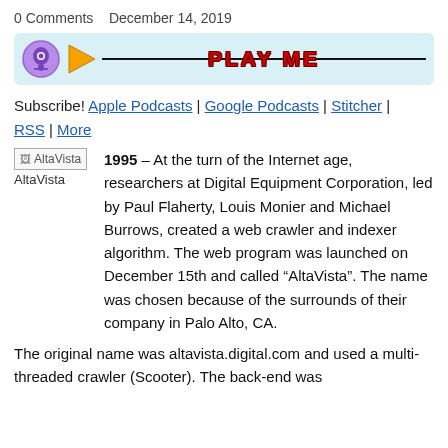0 Comments   December 14, 2019
[Figure (other): Podcast player bar with podcast icon, orange play button triangle, horizontal line, and stylized red 'PLAY ME' text on light blue background]
Subscribe! Apple Podcasts | Google Podcasts | Stitcher | RSS | More
[Figure (other): AltaVista image placeholder with broken image icon labeled 'AltaVista']
1995 – At the turn of the Internet age, researchers at Digital Equipment Corporation, led by Paul Flaherty, Louis Monier and Michael Burrows, created a web crawler and indexer algorithm. The web program was launched on December 15th and called “AltaVista”. The name was chosen because of the surrounds of their company in Palo Alto, CA.
The original name was altavista.digital.com and used a multi-threaded crawler (Scooter). The back-end was